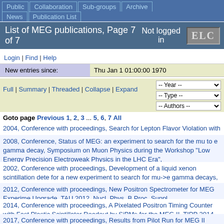Public | Collaboration | Sub-groups | Archive | News | Publication List
List of MEG publications, Page 7 of 7   Not logged in
Login | Find | Help
| New entries since: | Thu Jan 1 01:00:00 1970 |
| --- | --- |
Full | Summary | Threaded | Collapse | Expand   -- Year --  -- Type --  -- Authors --  140 En
Goto page Previous 1, 2, 3 ... 5, 6, 7  All
2004, Conference with proceedings, Search for Lepton Flavor Violation with Muons, SUSY2004,
2008, Conference, Status of MEG: an experiment to search for the mu to e gamma decay, Symposium on Muon Physics during the Workshop "Low Energy Precision Electroweak Physics in the LHC Era",
2002, Conference with proceedings, Development of a liquid xenon scintillation detector for a new experiment to search for mu->e gamma decays, Symposium on Radiation Measurements and Applications 2002, NIMA
2012, Conference with proceedings, New Positron Spectrometer for MEG Experiment Upgrade, TAU 2012, Nucl. Phys. B Proc. Suppl.
2014, Conference with proceedings, A Pixelated Positron Timing Counter with Fast Plastic Scintillator Readout by SiPMs for the MEG II, TIPP 2014, PoS
2017, Conference with proceedings, Results from Pilot Run for MEG II Positron Timing Counter, TIPP 2017, Springer Proceedings in Physics,